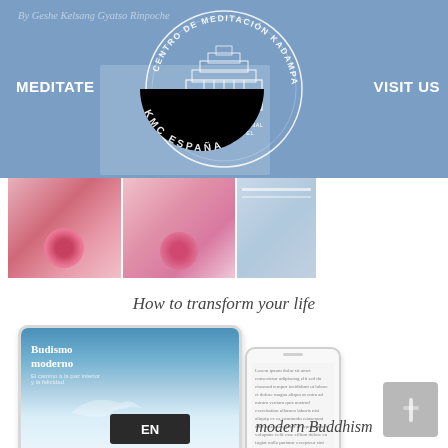[Figure (screenshot): KMC España website header banner with blue background, MEDITATE and VISIT US navigation links, and KMC España circular logo in the center showing a temple building with text 'CENTRO DE MEDITACION KADAMPA', 'TEMPLO INTERNACIONAL PARA LA PAZ EN EL MUNDO', 'KMC ESPAÑA']
By Geshe Kelsang Gyatso Rinpoche
MEDITATE
VISIT US
[Figure (photo): Pink orchid flower book covers displayed side by side with a blue/teal colored book]
How to transform your life
[Figure (photo): Tablet showing 'Budismo moderno' book cover with white dove on blue sky background, alongside a smartphone showing text content]
modern Buddhism
EN